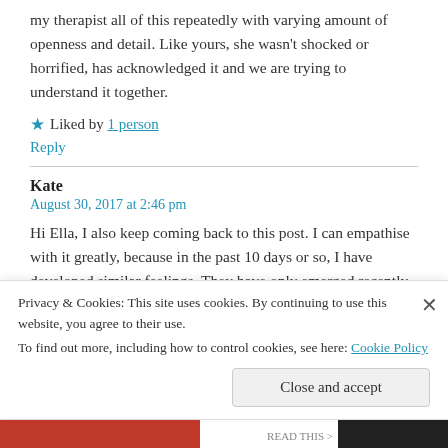my therapist all of this repeatedly with varying amount of openness and detail. Like yours, she wasn't shocked or horrified, has acknowledged it and we are trying to understand it together.
★ Liked by 1 person
Reply
Kate
August 30, 2017 at 2:46 pm
Hi Ella, I also keep coming back to this post. I can empathise with it greatly, because in the past 10 days or so, I have developed similar feelings. They have only emerged recently,
Privacy & Cookies: This site uses cookies. By continuing to use this website, you agree to their use.
To find out more, including how to control cookies, see here: Cookie Policy
Close and accept